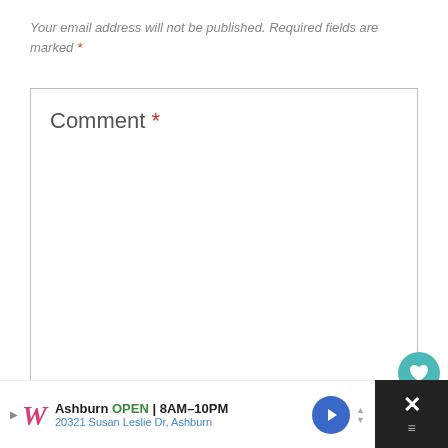Your email address will not be published. Required fields are marked *
Comment *
[Figure (screenshot): Empty comment text area form field with border]
[Figure (screenshot): Heart (like) button - teal circular button with white heart icon]
[Figure (screenshot): Share button - white circular button with share icon]
[Figure (screenshot): What's Next widget showing '28 Things You Probably...' with thumbnail]
Name *
[Figure (screenshot): Empty name input form field with border]
[Figure (advertisement): Walgreens ad banner: Ashburn OPEN 8AM-10PM, 20321 Susan Leslie Dr, Ashburn]